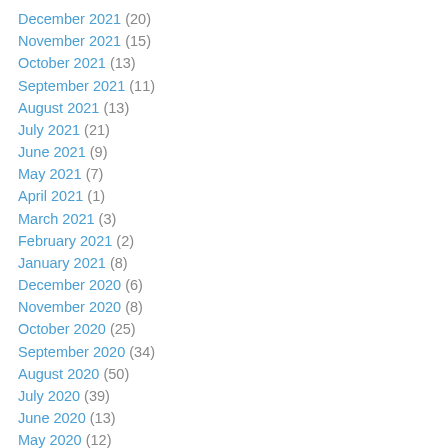December 2021 (20)
November 2021 (15)
October 2021 (13)
September 2021 (11)
August 2021 (13)
July 2021 (21)
June 2021 (9)
May 2021 (7)
April 2021 (1)
March 2021 (3)
February 2021 (2)
January 2021 (8)
December 2020 (6)
November 2020 (8)
October 2020 (25)
September 2020 (34)
August 2020 (50)
July 2020 (39)
June 2020 (13)
May 2020 (12)